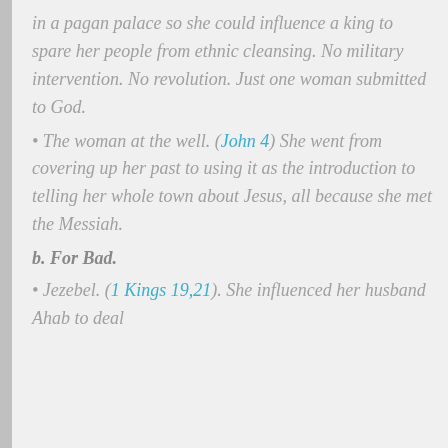in a pagan palace so she could influence a king to spare her people from ethnic cleansing. No military intervention. No revolution. Just one woman submitted to God.
• The woman at the well. (John 4) She went from covering up her past to using it as the introduction to telling her whole town about Jesus, all because she met the Messiah.
b. For Bad.
• Jezebel. (1 Kings 19,21). She influenced her husband Ahab to deal